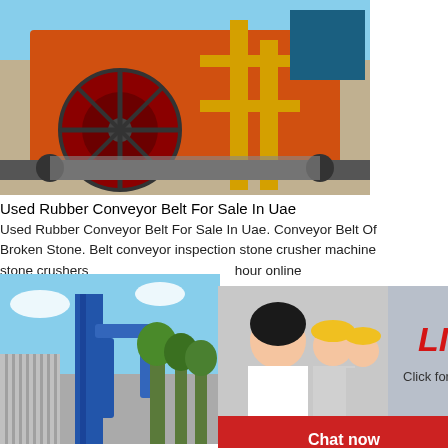[Figure (photo): Industrial orange conveyor belt / crusher machine at a construction or mining site]
Used Rubber Conveyor Belt For Sale In Uae
Used Rubber Conveyor Belt For Sale In Uae. Conveyor Belt Of Broken Stone. Belt conveyor inspection stone crusher machine stone crushers machinery co production cap bridges housing crusher grindi
Read More
[Figure (photo): Industrial blue piping / tower structure, likely a mill or processing plant]
[Figure (photo): Live Chat overlay with a smiling woman and workers in yellow hard hats. Title: LIVE CHAT. Subtitle: Click for a Free Consultation. Buttons: Chat now, Chat later]
[Figure (photo): Right sidebar showing: hour online, cone crusher machine image, Click me to chat>> button, Enquiry section, limingjlmofen text]